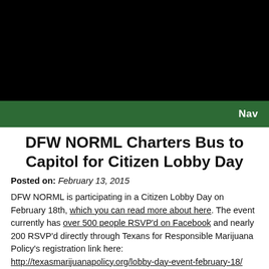[Figure (other): Black header banner image area at the top of the page]
Nav
DFW NORML Charters Bus to Capitol for Citizen Lobby Day
Posted on: February 13, 2015
DFW NORML is participating in a Citizen Lobby Day on February 18th, which you can read more about here. The event currently has over 500 people RSVP'd on Facebook and nearly 200 RSVP'd directly through Texans for Responsible Marijuana Policy's registration link here: http://texasmarijuanapolicy.org/lobby-day-event-february-18/
And because North Texans demanded it, DFW NORML has